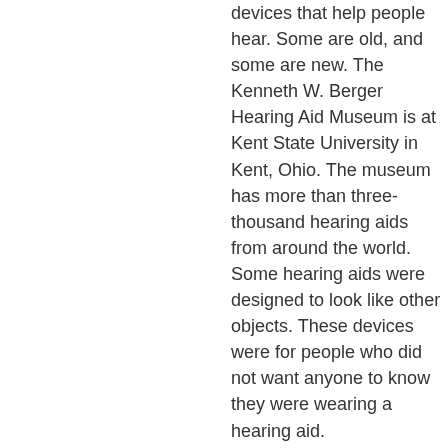devices that help people hear. Some are old, and some are new. The Kenneth W. Berger Hearing Aid Museum is at Kent State University in Kent, Ohio. The museum has more than three-thousand hearing aids from around the world. Some hearing aids were designed to look like other objects. These devices were for people who did not want anyone to know they were wearing a hearing aid.
Here is how this museum got started. In nineteen-sixty-six, a professor at Kent State answered some questions for a publication now called Hearing Journal. Professor Kenneth Berger told the editor that he would like to show some hearing aids in the Speech and Hearing